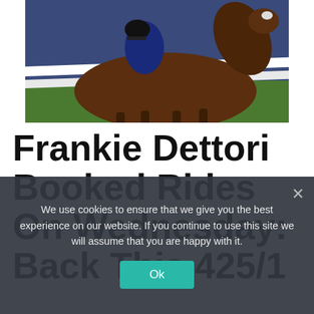[Figure (photo): Horse racing photo showing a racehorse and jockey in blue silks jumping over or beside a white rail fence, with green grass background]
Frankie Dettori Booked Rides On Wednesday: Back This 425/1
We use cookies to ensure that we give you the best experience on our website. If you continue to use this site we will assume that you are happy with it.